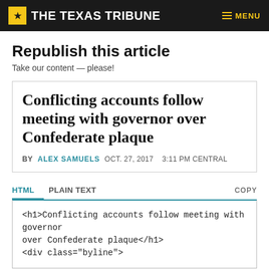THE TEXAS TRIBUNE | MENU
Republish this article
Take our content — please!
Conflicting accounts follow meeting with governor over Confederate plaque
BY ALEX SAMUELS   OCT. 27, 2017   3:11 PM CENTRAL
HTML   PLAIN TEXT   COPY
<h1>Conflicting accounts follow meeting with governor over Confederate plaque</h1>
<div class="byline">